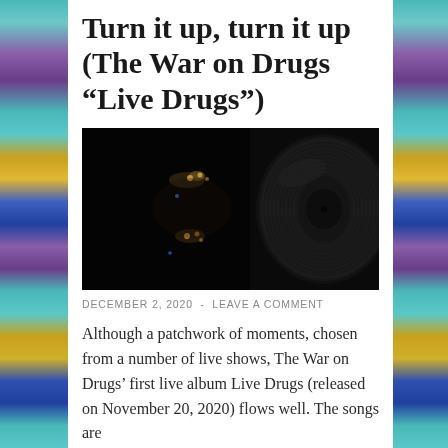Turn it up, turn it up (The War on Drugs “Live Drugs”)
[Figure (photo): Album cover image showing a dark concert/stage scene on the left with faint lights and musicians silhouetted in darkness, and a vinyl record on the right side against black background]
DECEMBER 2, 2020  -  LEAVE A COMMENT
Although a patchwork of moments, chosen from a number of live shows, The War on Drugs’ first live album Live Drugs (released on November 20, 2020) flows well. The songs are